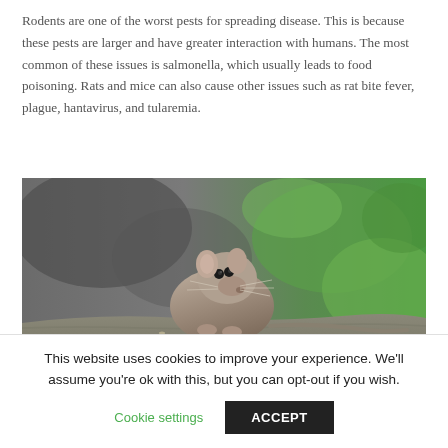Rodents are one of the worst pests for spreading disease. This is because these pests are larger and have greater interaction with humans. The most common of these issues is salmonella, which usually leads to food poisoning. Rats and mice can also cause other issues such as rat bite fever, plague, hantavirus, and tularemia.
[Figure (photo): A brown rat or mouse crouching on a rock surface with seeds/crumbs, photographed close-up with a blurred green and grey bokeh background.]
This website uses cookies to improve your experience. We'll assume you're ok with this, but you can opt-out if you wish.
Cookie settings  ACCEPT